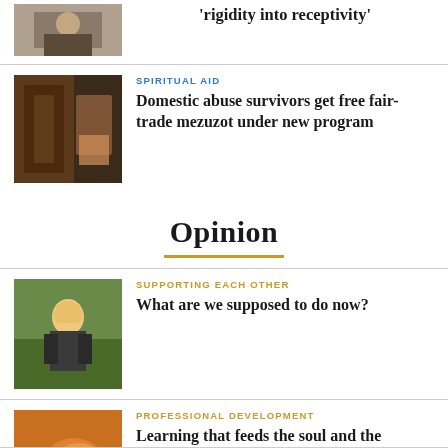[Figure (photo): Small thumbnail photo of a person at a table]
'rigidity into receptivity'
[Figure (photo): Photo of an interior space, possibly a synagogue]
SPIRITUAL AID
Domestic abuse survivors get free fair-trade mezuzot under new program
Opinion
[Figure (photo): Child wearing a butterfly mask giving thumbs up]
SUPPORTING EACH OTHER
What are we supposed to do now?
[Figure (photo): Monarch butterfly on flowers]
PROFESSIONAL DEVELOPMENT
Learning that feeds the soul and the toolbox